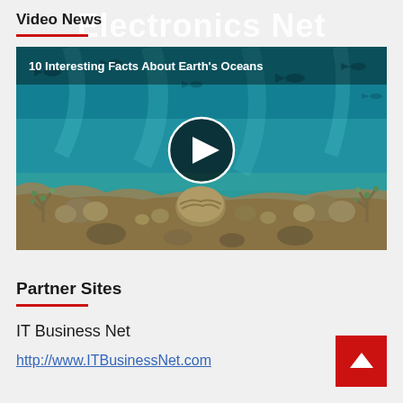Electronics Net
Video News
[Figure (screenshot): Video thumbnail of underwater coral reef scene with fish, titled '10 Interesting Facts About Earth's Oceans', with a play button overlay in the center.]
Partner Sites
IT Business Net
http://www.ITBusinessNet.com